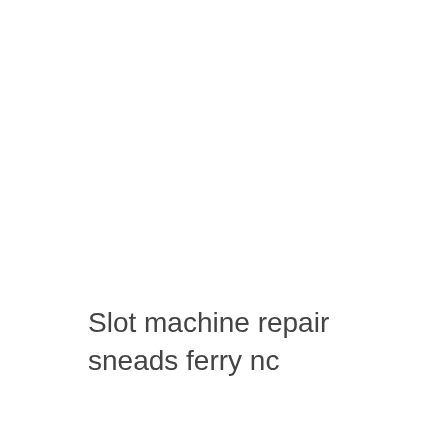Slot machine repair sneads ferry nc